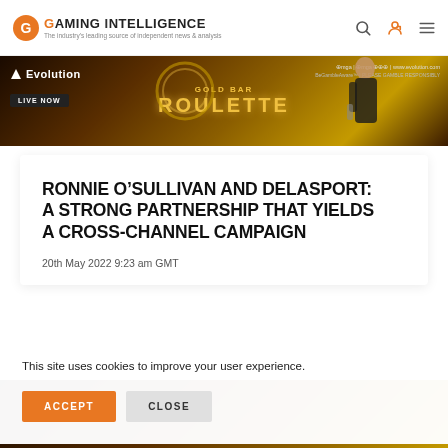Gaming Intelligence – The industry's leading source of independent news & analysis
[Figure (photo): Evolution Gold Bar Roulette banner advertisement with woman presenter and golden casino background]
RONNIE O'SULLIVAN AND DELASPORT: A STRONG PARTNERSHIP THAT YIELDS A CROSS-CHANNEL CAMPAIGN
20th May 2022 9:23 am GMT
This site uses cookies to improve your user experience.
ACCEPT  CLOSE